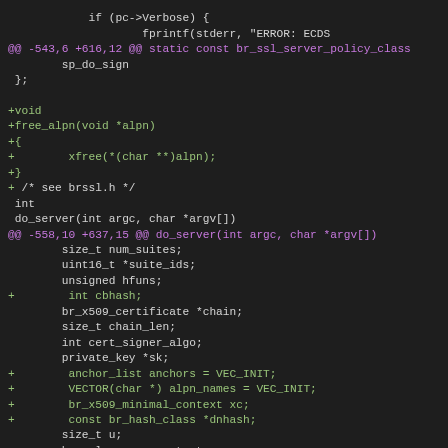[Figure (screenshot): A code diff view showing changes to a C source file, with magenta diff hunk headers and green added lines on a dark background.]